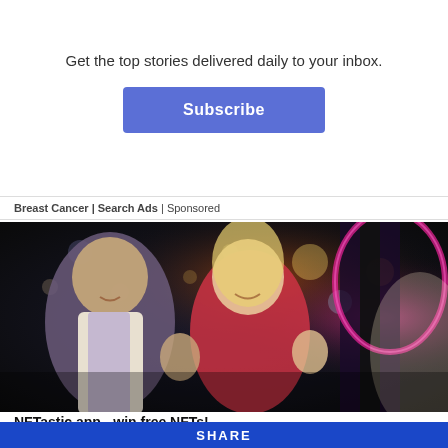Get the top stories delivered daily to your inbox.
Subscribe
Breast Cancer | Search Ads | Sponsored
[Figure (photo): Two people, a man in a blazer and a woman in a red dress, celebrating excitedly in front of a casino slot machine with colorful bokeh lights in the background.]
NFTastic app - win free NFTs!
SHARE